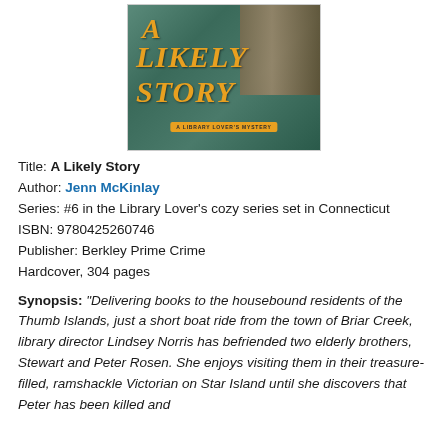[Figure (illustration): Book cover for 'A Likely Story' by Jenn McKinlay, a Library Lover's Mystery (#6). Cover shows a bookshelf and teal/green background with gold italic title text.]
Title: A Likely Story
Author: Jenn McKinlay
Series: #6 in the Library Lover's cozy series set in Connecticut
ISBN: 9780425260746
Publisher: Berkley Prime Crime
Hardcover, 304 pages
Synopsis: "Delivering books to the housebound residents of the Thumb Islands, just a short boat ride from the town of Briar Creek, library director Lindsey Norris has befriended two elderly brothers, Stewart and Peter Rosen. She enjoys visiting them in their treasure-filled, ramshackle Victorian on Star Island until she discovers that Peter has been killed and